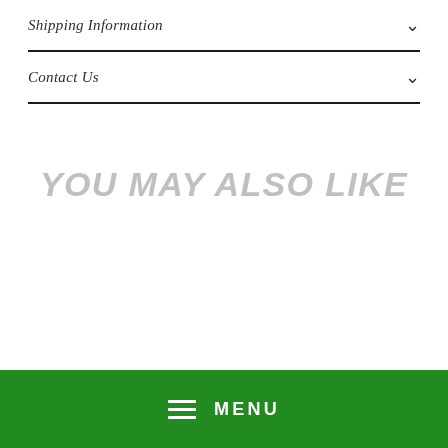Shipping Information
Contact Us
YOU MAY ALSO LIKE
MENU